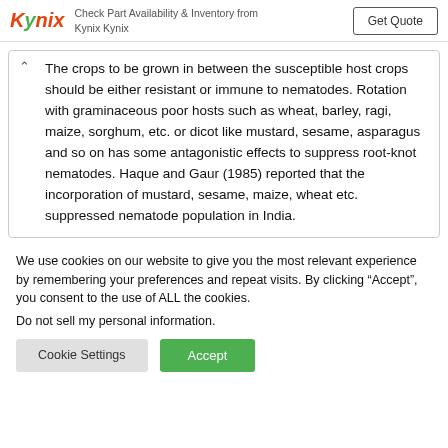[Figure (other): Kynix advertisement banner with logo, text about checking part availability, and Get Quote button]
The crops to be grown in between the susceptible host crops should be either resistant or immune to nematodes. Rotation with graminaceous poor hosts such as wheat, barley, ragi, maize, sorghum, etc. or dicot like mustard, sesame, asparagus and so on has some antagonistic effects to suppress root-knot nematodes. Haque and Gaur (1985) reported that the incorporation of mustard, sesame, maize, wheat etc. suppressed nematode population in India.
We use cookies on our website to give you the most relevant experience by remembering your preferences and repeat visits. By clicking “Accept”, you consent to the use of ALL the cookies. Do not sell my personal information.